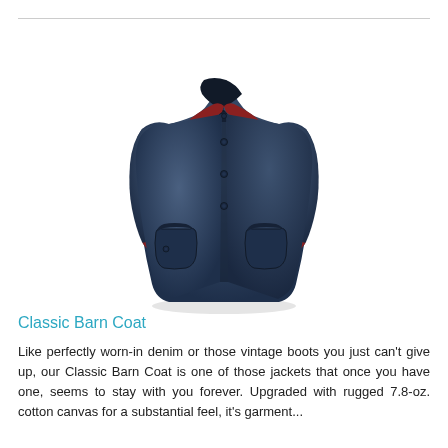[Figure (photo): A navy blue Classic Barn Coat jacket displayed on a white background, showing a button-front closure, collar, two front pockets, and plaid red lining visible at the collar and cuffs.]
Classic Barn Coat
Like perfectly worn-in denim or those vintage boots you just can't give up, our Classic Barn Coat is one of those jackets that once you have one, seems to stay with you forever. Upgraded with rugged 7.8-oz. cotton canvas for a substantial feel, it's garment...